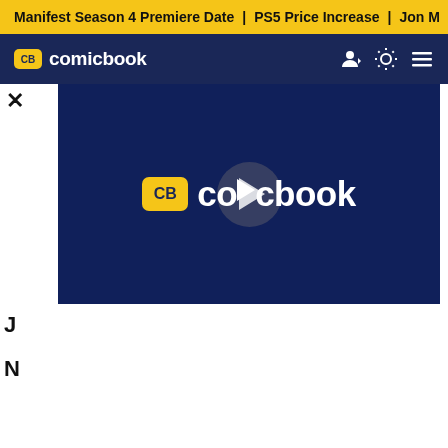Manifest Season 4 Premiere Date | PS5 Price Increase | Jon M
CB comicbook
[Figure (screenshot): ComicBook.com video player with dark navy background showing the CB comicbook logo with a play button overlay in the center]
Centaurworld -- NETFLIX FAMILY
Glow Up: Season 3 -- NETFLIX SERIES
The Last Mercenary -- NETFLIX FILM